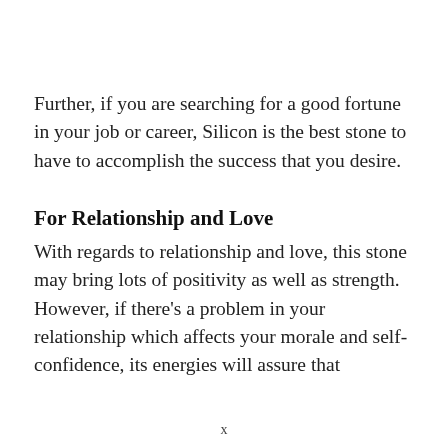Further, if you are searching for a good fortune in your job or career, Silicon is the best stone to have to accomplish the success that you desire.
For Relationship and Love
With regards to relationship and love, this stone may bring lots of positivity as well as strength. However, if there's a problem in your relationship which affects your morale and self-confidence, its energies will assure that
x